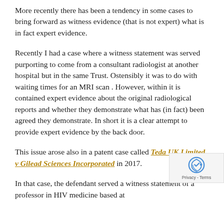More recently there has been a tendency in some cases to bring forward as witness evidence (that is not expert) what is in fact expert evidence.
Recently I had a case where a witness statement was served purporting to come from a consultant radiologist at another hospital but in the same Trust. Ostensibly it was to do with waiting times for an MRI scan . However, within it is contained expert evidence about the original radiological reports and whether they demonstrate what has (in fact) been agreed they demonstrate. In short it is a clear attempt to provide expert evidence by the back door.
This issue arose also in a patent case called Teda UK Limited v Gilead Sciences Incorporated in 2017.
In that case, the defendant served a witness statement of a professor in HIV medicine based at